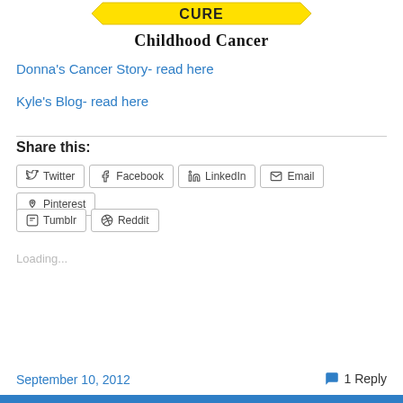[Figure (logo): Childhood Cancer logo with yellow ribbon and stylized text]
Donna's Cancer Story- read here
Kyle's Blog- read here
Share this:
Twitter  Facebook  LinkedIn  Email  Pinterest  Tumblr  Reddit
Loading...
September 10, 2012   1 Reply